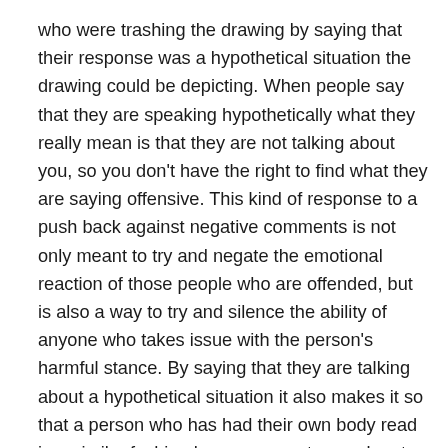who were trashing the drawing by saying that their response was a hypothetical situation the drawing could be depicting. When people say that they are speaking hypothetically what they really mean is that they are not talking about you, so you don't have the right to find what they are saying offensive. This kind of response to a push back against negative comments is not only meant to try and negate the emotional reaction of those people who are offended, but is also a way to try and silence the ability of anyone who takes issue with the person's harmful stance. By saying that they are talking about a hypothetical situation it also makes it so that a person who has had their own body read in a similar fashion has no space to speak out, because clearly they are not speaking about actual situations that have happened to actual people.